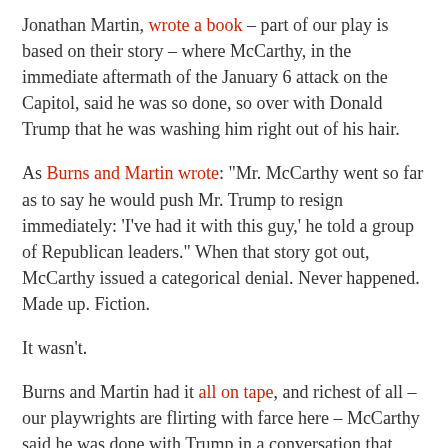Jonathan Martin, wrote a book – part of our play is based on their story – where McCarthy, in the immediate aftermath of the January 6 attack on the Capitol, said he was so done, so over with Donald Trump that he was washing him right out of his hair.
As Burns and Martin wrote: "Mr. McCarthy went so far as to say he would push Mr. Trump to resign immediately: 'I've had it with this guy,' he told a group of Republican leaders." When that story got out, McCarthy issued a categorical denial. Never happened. Made up. Fiction.
It wasn't.
Burns and Martin had it all on tape, and richest of all – our playwrights are flirting with farce here – McCarthy said he was done with Trump in a conversation that included Wyoming congresswoman Liz Cheney, one of the few